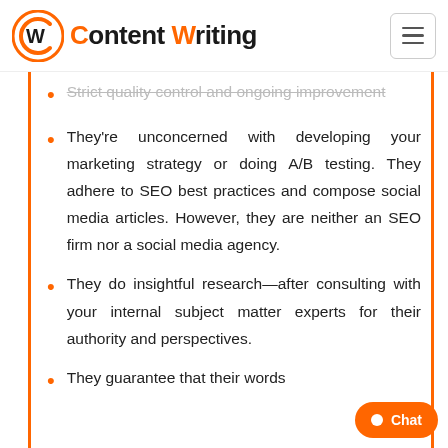Content Writing
Strict quality control and ongoing improvement
They're unconcerned with developing your marketing strategy or doing A/B testing. They adhere to SEO best practices and compose social media articles. However, they are neither an SEO firm nor a social media agency.
They do insightful research—after consulting with your internal subject matter experts for their authority and perspectives.
They guarantee that their words